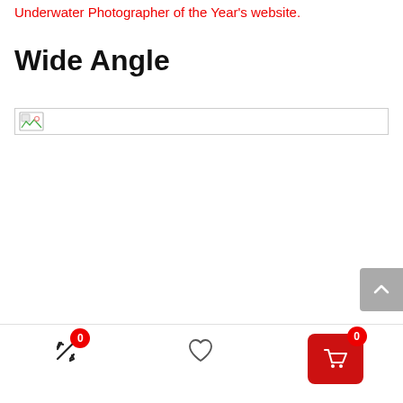Underwater Photographer of the Year's website.
Wide Angle
[Figure (other): Broken/placeholder image icon with border — image failed to load]
[Figure (other): Scroll-to-top button (chevron up arrow on grey rounded rectangle)]
[Figure (other): Bottom navigation bar with compare icon (badge 0), heart/wishlist icon, and cart button (badge 0) on red background]